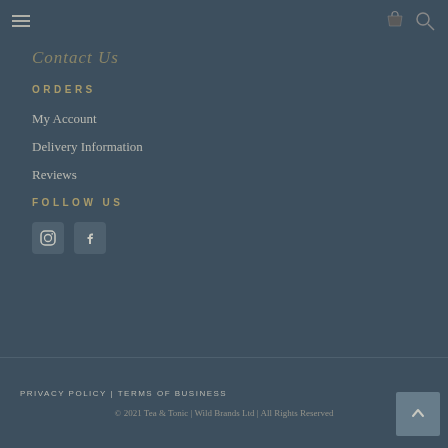Navigation header with hamburger menu, cart icon, and search icon
Contact Us
ORDERS
My Account
Delivery Information
Reviews
FOLLOW US
[Figure (other): Instagram and Facebook social media icon buttons]
PRIVACY POLICY | TERMS OF BUSINESS
© 2021 Tea & Tonic | Wild Brands Ltd | All Rights Reserved